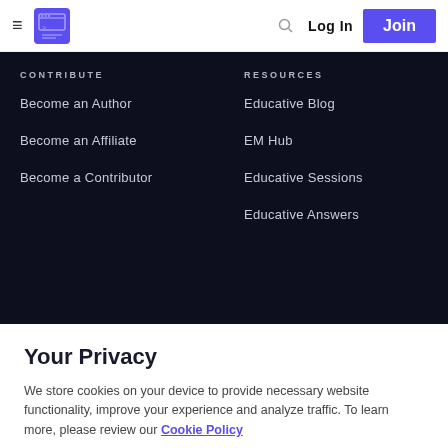≡  [logo]  🔍  Log In  Join
CONTRIBUTE
Become an Author
Become an Affiliate
Become a Contributor
RESOURCES
Educative Blog
EM Hub
Educative Sessions
Educative Answers
Your Privacy
We store cookies on your device to provide necessary website functionality, improve your experience and analyze traffic. To learn more, please review our Cookie Policy
Got It